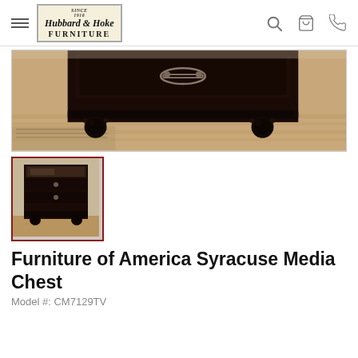Hubbard & Hoke FURNITURE — navigation bar with hamburger menu, logo, search, cart, phone icons
[Figure (photo): Close-up of a dark espresso wooden media chest/dresser bottom section showing ornate carved ball feet and a drawer pull handle, photographed on a hardwood floor with a rug visible]
[Figure (photo): Thumbnail image of the full Furniture of America Syracuse Media Chest in dark espresso finish showing TV stand area and drawers]
Furniture of America Syracuse Media Chest
Model #: CM7129TV